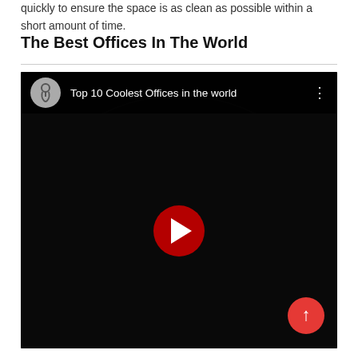quickly to ensure the space is as clean as possible within a short amount of time.
The Best Offices In The World
[Figure (screenshot): YouTube video thumbnail showing 'Top 10 Coolest Offices in the world' with a play button overlay. The thumbnail shows a dark aerial/wide-angle view of a large modern open office space. A red circular scroll-to-top button is visible in the bottom right corner.]